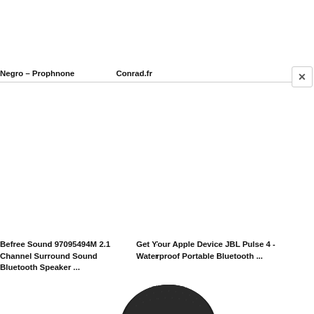Negro – Prophnone    Conrad.fr
Befree Sound 97095494M 2.1 Channel Surround Sound Bluetooth Speaker ...
Get Your Apple Device JBL Pulse 4 - Waterproof Portable Bluetooth ...
[Figure (other): Bottom portion of a circular black Bluetooth speaker visible at bottom center of the page]